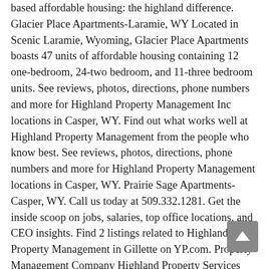based affordable housing: the highland difference. Glacier Place Apartments-Laramie, WY Located in Scenic Laramie, Wyoming, Glacier Place Apartments boasts 47 units of affordable housing containing 12 one-bedroom, 24-two bedroom, and 11-three bedroom units. See reviews, photos, directions, phone numbers and more for Highland Property Management Inc locations in Casper, WY. Find out what works well at Highland Property Management from the people who know best. See reviews, photos, directions, phone numbers and more for Highland Property Management locations in Casper, WY. Prairie Sage Apartments-Casper, WY. Call us today at 509.332.1281. Get the inside scoop on jobs, salaries, top office locations, and CEO insights. Find 2 listings related to Highland Property Management in Gillette on YP.com. Property Management Company Highland Property Services Licensed property specialists in residential property, letting and property management within the Aviemore area and throughout the